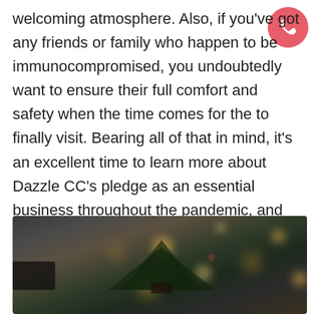welcoming atmosphere. Also, if you've got any friends or family who happen to be immunocompromised, you undoubtedly want to ensure their full comfort and safety when the time comes for the to finally visit. Bearing all of that in mind, it's an excellent time to learn more about Dazzle CC's pledge as an essential business throughout the pandemic, and our promise to continue doing all that we can to guarantee health, safety, and the complete eradication of the COVID-19 virus.
[Figure (photo): Blurred photo of a Christmas tree with bokeh lights in a dim interior setting]